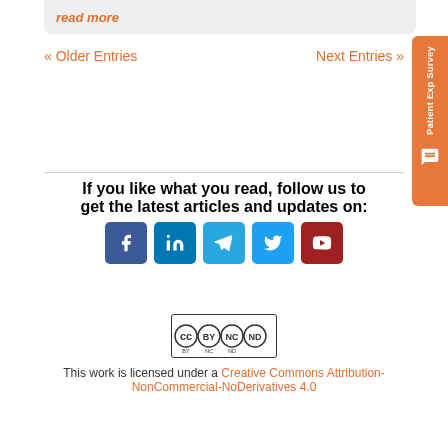read more
« Older Entries
Next Entries »
[Figure (other): Patient Exp Survey vertical tab on right side with chat icon]
If you like what you read, follow us to get the latest articles and updates on:
[Figure (infographic): Row of 5 social media icon buttons: Facebook, LinkedIn, Telegram, Twitter, YouTube]
[Figure (logo): Creative Commons BY NC ND license badge]
This work is licensed under a Creative Commons Attribution-NonCommercial-NoDerivatives 4.0